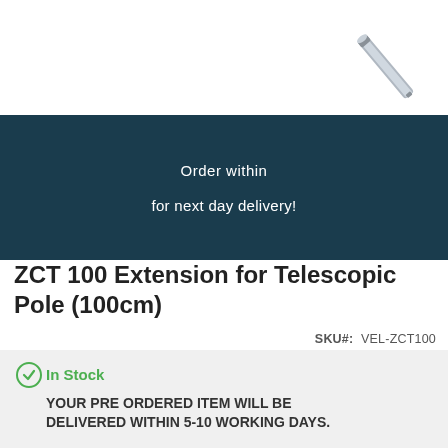[Figure (photo): Telescopic pole extension product photo, showing a metal pole on a white background, positioned in upper right corner]
Order within

for next day delivery!
ZCT 100 Extension for Telescopic Pole (100cm)
SKU#:  VEL-ZCT100
In Stock
YOUR PRE ORDERED ITEM WILL BE DELIVERED WITHIN 5-10 WORKING DAYS.
1
+
POA